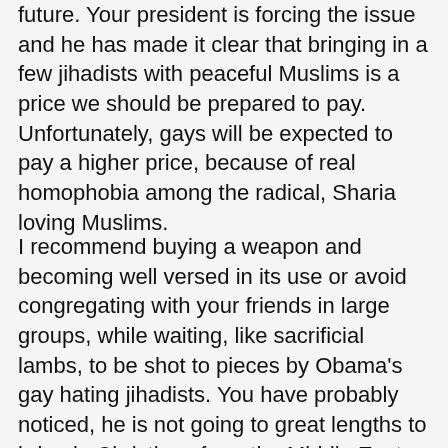future. Your president is forcing the issue and he has made it clear that bringing in a few jihadists with peaceful Muslims is a price we should be prepared to pay. Unfortunately, gays will be expected to pay a higher price, because of real homophobia among the radical, Sharia loving Muslims.
I recommend buying a weapon and becoming well versed in its use or avoid congregating with your friends in large groups, while waiting, like sacrificial lambs, to be shot to pieces by Obama's gay hating jihadists. You have probably noticed, he is not going to great lengths to bring in Christians from the Middle East, he only wants the guys who hate homosexuals, but are willing to kill them with compassion.